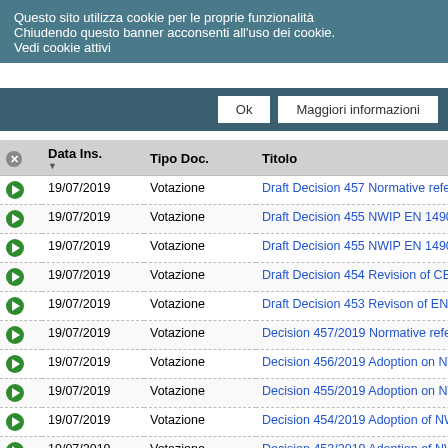Questo sito utilizza cookie per le proprie funzionalità
Chiudendo questo banner acconsenti all'uso dei cookie.
Vedi cookie attivi
Ok | Maggiori informazioni
|  | Data Ins. ▼ | Tipo Doc. | Titolo |
| --- | --- | --- | --- |
| ● | 19/07/2019 | Votazione | Draft Decision 457 Normative references |
| ● | 19/07/2019 | Votazione | Draft Decision 455 NWIP EN 14908-8 |
| ● | 19/07/2019 | Votazione | Draft Decision 455 NWIP EN 14908-8 |
| ● | 19/07/2019 | Votazione | Draft Decision 454 Revision of CEN TR |
| ● | 19/07/2019 | Votazione | Draft Decision 453 Revison of EN 12098 |
| ● | 19/07/2019 | Votazione | Decision 457/2019 Normative references |
| ● | 19/07/2019 | Votazione | Decision 456/2019 Adoption on NWIP E |
| ● | 19/07/2019 | Votazione | Decision 455/2019 Adoption on NWIP E |
| ● | 19/07/2019 | Votazione | Decision 454/2019 Adoption of NWIP re |
| ● | 19/07/2019 | Votazione | Decision 453/2019 Adoption of NWIP re |
| ● | 16/07/2019 | Documento di Lavoro | Draft Agenda for the 31st plenary meeting Denmark on 4th September 2019-1 |
| ● | 16/07/2019 | Votazione | Call for Liaison Officer to ISO TC 205 |